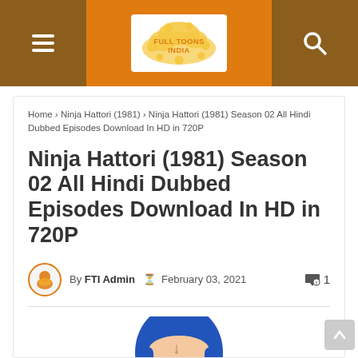Full Toons India
Home > Ninja Hattori (1981) > Ninja Hattori (1981) Season 02 All Hindi Dubbed Episodes Download In HD in 720P
Ninja Hattori (1981) Season 02 All Hindi Dubbed Episodes Download In HD in 720P
By FTI Admin  February 03, 2021  1
[Figure (illustration): Cartoon character Ninja Hattori wearing a blue ninja hood, with large white eyes and light skin, shown from approximately the head/shoulders up]